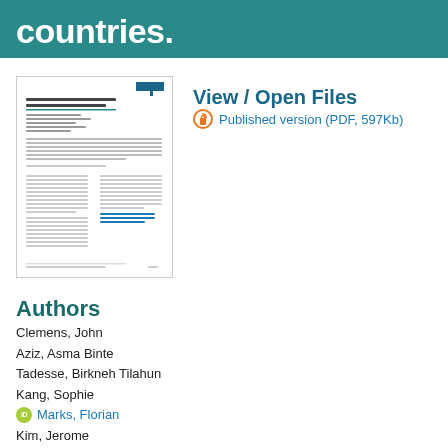countries.
[Figure (screenshot): Thumbnail preview of a scientific paper about COVID-19 vaccines]
View / Open Files
Published version (PDF, 597Kb)
Authors
Clemens, John
Aziz, Asma Binte
Tadesse, Birkneh Tilahun
Kang, Sophie
Marks, Florian
Kim, Jerome
Publication Date